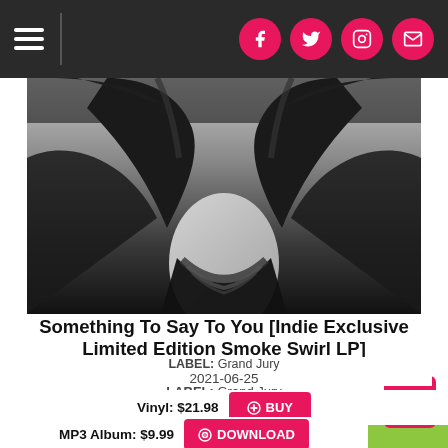[Figure (screenshot): Website navigation bar with hamburger menu on left and four social media icons (Facebook, Twitter, Instagram, Email) on pink/red circular buttons on the right, on dark background]
[Figure (photo): Black and white photo of a person with dark hair wearing a dark patterned top, viewed from neck up, face obscured]
Something To Say To You [Indie Exclusive Limited Edition Smoke Swirl LP]
LABEL: Grand Jury
2021-06-25
Vinyl: $21.98 BUY
MP3 Album: $9.99 DOWNLOAD